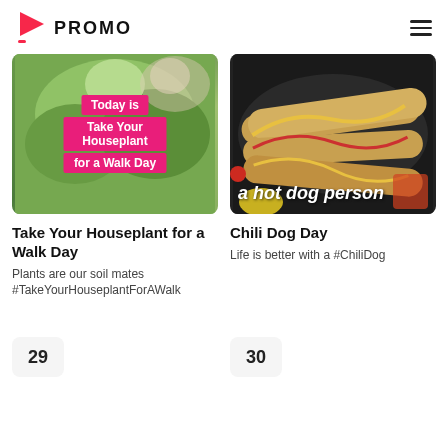PROMO
[Figure (photo): Woman holding houseplant with pink overlay text: Today is Take Your Houseplant for a Walk Day]
[Figure (photo): Hot dogs in a pan with text overlay: a hot dog person]
Take Your Houseplant for a Walk Day
Chili Dog Day
Plants are our soil mates #TakeYourHouseplantForAWalk
Life is better with a #ChiliDog
29
30